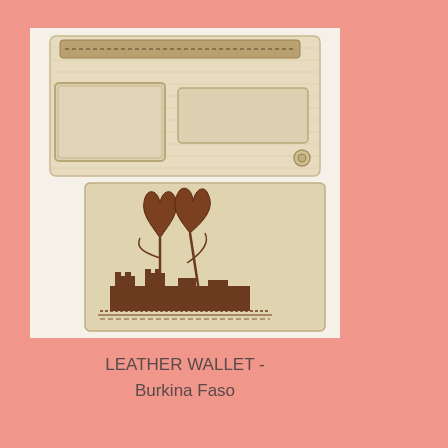[Figure (photo): A beige leather wallet open showing card slots and a zipper compartment, with another wallet piece showing a burned/pyrography design of flowers and a castle/landscape scene, on a white background.]
LEATHER WALLET - Burkina Faso
Global Handmade
Handmade In Eden
Imported Home Decor